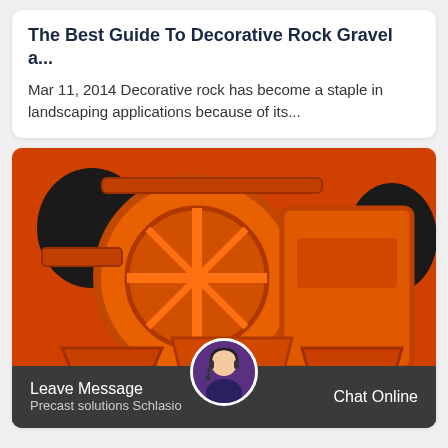The Best Guide To Decorative Rock Gravel a...
Mar 11, 2014 Decorative rock has become a staple in landscaping applications because of its...
[Figure (photo): Large orange industrial rock crushing or washing machine photographed in a warehouse/factory setting]
Leave Message
Precast solutions Schlasio
Chat Online